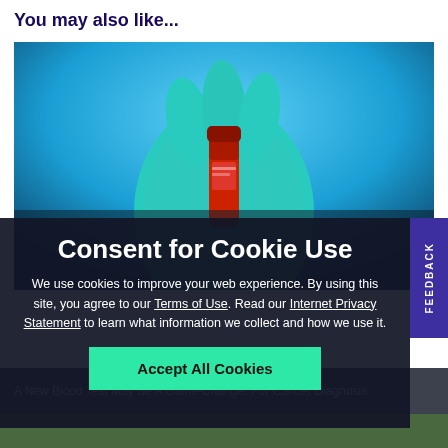You may also like...
[Figure (photo): A gloved hand (teal/blue medical glove) holding a red-capped blood sample vial against a blue background.]
Consent for Cookie Use
We use cookies to improve your web experience. By using this site, you agree to our Terms of Use. Read our Internet Privacy Statement to learn what information we collect and how we use it.
Accept All Cookies
A New Blood Test May Be A Game-Changer For Cancer Diagnosis